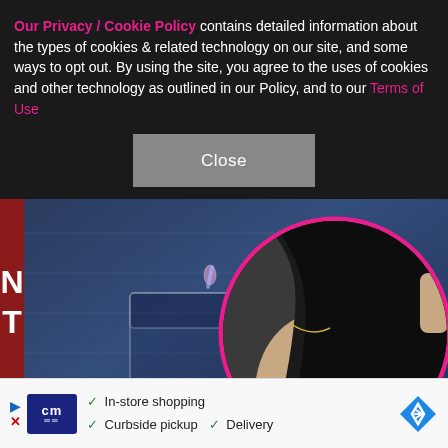Our Privacy / Cookie Policy contains detailed information about the types of cookies & related technology on our site, and some ways to opt out. By using the site, you agree to the uses of cookies and other technology as outlined in our Policy, and to our Terms of Use
Close
[Figure (photo): Photo of person in denim jacket alongside circular inset photo of woman's back with long black hair, pink magenta circle border]
10/21   STEPHEN LOVEKIN/SHUTTERSTOCK / INSTAGRAM/@VINETRRIA
—
On Dec. 21, Page Six broke the news that Kanye We
[Figure (infographic): Advertisement banner with cm logo, checkmarks for In-store shopping, Curbside pickup, Delivery, and a blue diamond navigation icon]